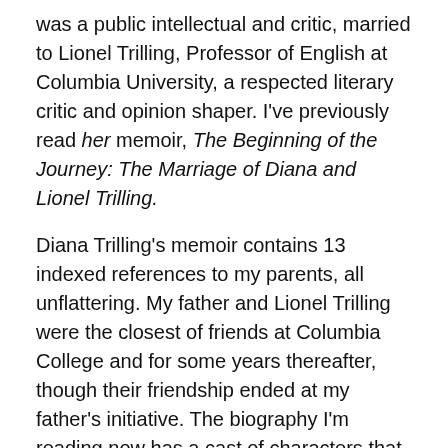was a public intellectual and critic, married to Lionel Trilling, Professor of English at Columbia University, a respected literary critic and opinion shaper. I've previously read her memoir, The Beginning of the Journey: The Marriage of Diana and Lionel Trilling.
Diana Trilling's memoir contains 13 indexed references to my parents, all unflattering. My father and Lionel Trilling were the closest of friends at Columbia College and for some years thereafter, though their friendship ended at my father's initiative. The biography I'm reading now has a cast of characters that includes people I knew and challenges they faced with which I'm personally familiar.
All very interesting, no? So what could go wrong? Aren't these opportunities to recoup lost time — whether the time of past experiences that formed the family that formed me